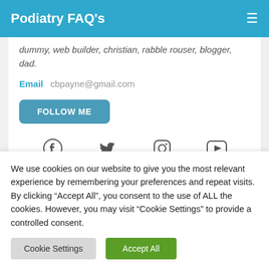Podiatry FAQ's
dummy, web builder, christian, rabble rouser, blogger, dad.
Email   cbpayne@gmail.com
FOLLOW ME
[Figure (other): Social media icons: Facebook, Twitter, Instagram, YouTube, and partial second row of additional social icons]
We use cookies on our website to give you the most relevant experience by remembering your preferences and repeat visits. By clicking “Accept All”, you consent to the use of ALL the cookies. However, you may visit "Cookie Settings" to provide a controlled consent.
Cookie Settings   Accept All